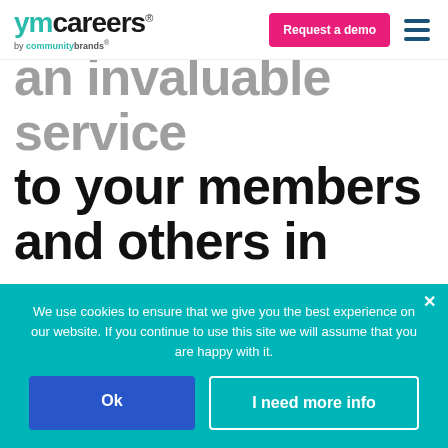[Figure (logo): YMCareers by Community Brands logo with teal/green 'ym' text and dark 'careers' text]
an invaluable service to your members and others in your industry.
We use cookies to ensure that we give you the best experience on our website. If you continue to use this site we will assume that you are happy with it.